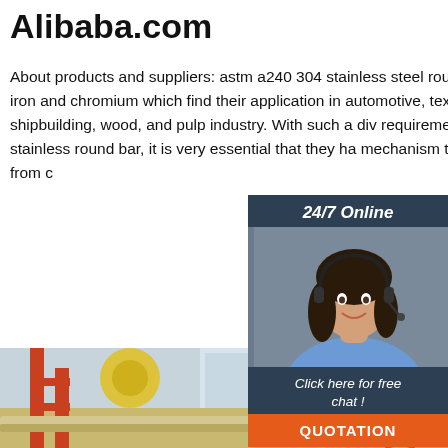Alibaba.com
About products and suppliers: astm a240 304 stainless steel round bar are a mixture of iron and chromium which find their application in automotive, textile, defence. shipbuilding, wood, and pulp industry. With such a diverse requirement of. astm a240 304 stainless steel round bar, it is very essential that they have a mechanism to prevent themselves from corrosion.
[Figure (photo): 24/7 Online chat widget showing a woman with a headset smiling, with 'Click here for free chat!' text and an orange QUOTATION button]
[Figure (photo): Get Price green button]
[Figure (photo): Industrial warehouse/construction scene with stainless steel bars and scaffolding, with a TOP logo badge in bottom right]